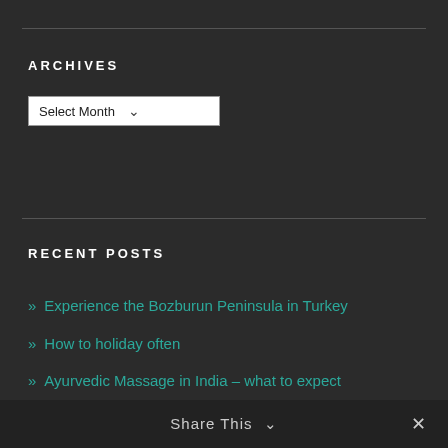ARCHIVES
[Figure (screenshot): Dropdown selector showing 'Select Month' with a chevron arrow]
RECENT POSTS
Experience the Bozburun Peninsula in Turkey
How to holiday often
Ayurvedic Massage in India – what to expect
Bangalore surprisingly charming modern city
Visit Pondicherry in French India
Share This ∨  ✕